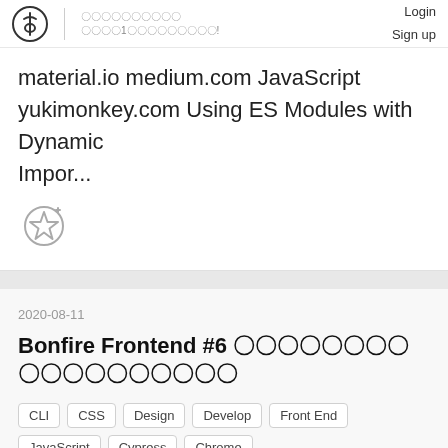Login Sign up
material.io medium.com JavaScript yukimonkey.com Using ES Modules with Dynamic Impor...
[Figure (illustration): A star icon with a plus sign, gray outlined style]
2020-08-11
Bonfire Frontend #6 〇〇〇〇〇〇〇〇〇〇〇〇〇〇〇〇〇〇
CLI
CSS
Design
Develop
Front End
JavaScript
Cypress
Chrome
Bonfire Frontend #6 〇〇〇〇〇〇〇〇 wi...